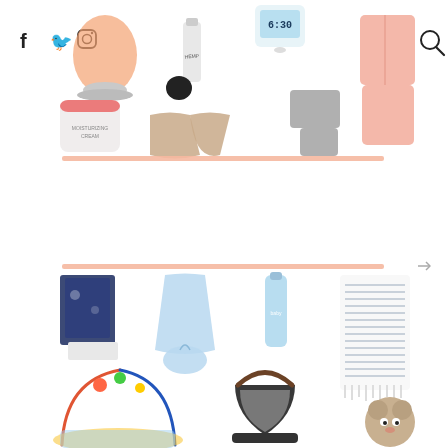[Figure (photo): Top section: lifestyle/sleep product collage including himalayan salt lamp, skincare cream, CBD oil, underwear/shorts, grey loungewear set, pink pajama set, alarm clock. Social media icons (Facebook, Twitter, Instagram) and search icon visible.]
[Figure (photo): Bottom section: baby product collage including patterned baby blankets, light blue baby gown and hat set, baby skincare tube, striped swaddle blanket, colorful activity play gym, infant car seat, stuffed animal toy.]